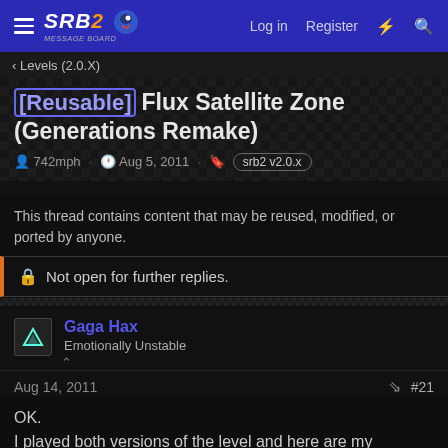SRB2 Message Board — Log in  Register
< Levels (2.0.X)
[Reusable] Flux Satellite Zone (Generations Remake)
742mph · Aug 5, 2011 · srb2 v2.0.x
This thread contains content that may be reused, modified, or ported by anyone.
🔒 Not open for further replies.
Gaga Hax
Emotionally Unstable
Aug 14, 2011  #21
OK.
I played both versions of the level and here are my complaints: